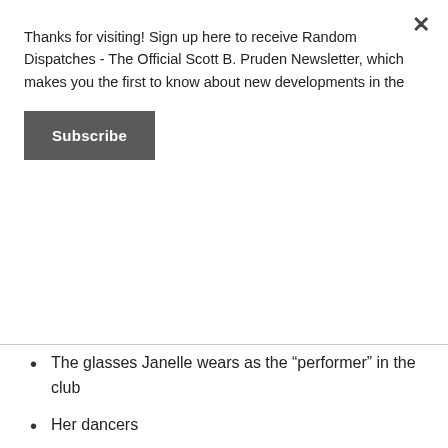Thanks for visiting! Sign up here to receive Random Dispatches - The Official Scott B. Pruden Newsletter, which makes you the first to know about new developments in the
Subscribe
The glasses Janelle wears as the “performer” in the club
Her dancers
Her see-through pants
Her jewel mail veil-clad guitarist
The interplay between the female friend with whom she arrives at the club and the male friend she meets there (“Who should I take home, her or him? Let’s make it both!”)